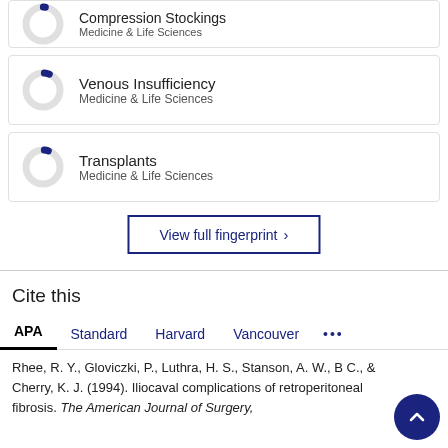[Figure (donut-chart): Donut chart for Compression Stockings (Medicine & Life Sciences) — very small fill, nearly empty ring]
Compression Stockings
Medicine & Life Sciences
[Figure (donut-chart): Donut chart for Venous Insufficiency (Medicine & Life Sciences) — small blue fill]
Venous Insufficiency
Medicine & Life Sciences
[Figure (donut-chart): Donut chart for Transplants (Medicine & Life Sciences) — small blue fill]
Transplants
Medicine & Life Sciences
View full fingerprint ›
Cite this
APA  Standard  Harvard  Vancouver  •••
Rhee, R. Y., Gloviczki, P., Luthra, H. S., Stanson, A. W., B C., & Cherry, K. J. (1994). Iliocaval complications of retroperitoneal fibrosis. The American Journal of Surgery,